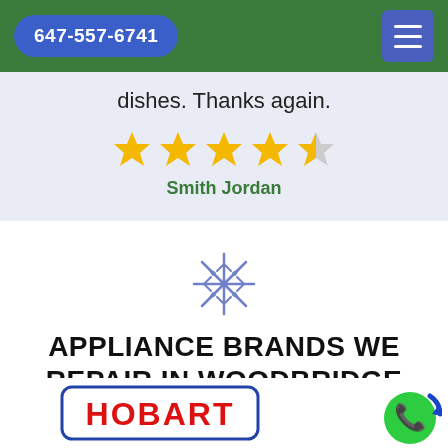647-557-6741
dishes. Thanks again.
[Figure (other): 4.5 star rating — four full gold stars and one half gold star]
Smith Jordan
[Figure (other): Snowflake decorative icon in outline style, blue/purple color]
APPLIANCE BRANDS WE REPAIR IN WOODBRIDGE
[Figure (logo): Hobart brand logo — red text HOBART inside a blue rounded rectangle border]
[Figure (other): Green phone call floating action button with blue circular arrow]